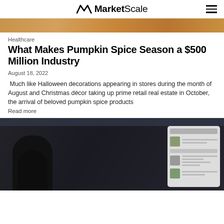MarketScale
[Figure (photo): Cropped top portion of a pumpkin spice themed hero image, warm orange-brown tones]
Healthcare
What Makes Pumpkin Spice Season a $500 Million Industry
August 18, 2022
Much like Halloween decorations appearing in stores during the month of August and Christmas décor taking up prime retail real estate in October, the arrival of beloved pumpkin spice products
Read more
[Figure (photo): Dark photo of a person viewed from behind looking at a digital menu/tablet screen with listed items]